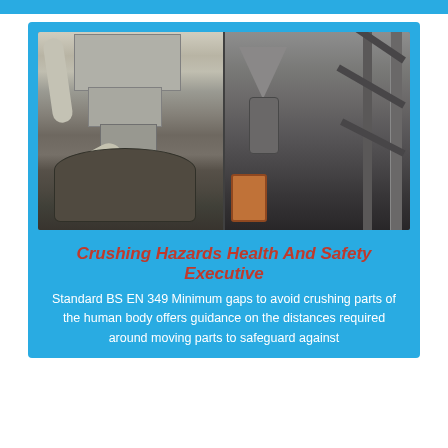[Figure (photo): Two-panel industrial photograph showing heavy crushing/milling machinery inside a factory. Left panel shows large ducting, a multi-level metal housing unit, pipes and a large round crusher base. Right panel shows steel structural framework, staircase, a cone-shaped separator and an orange drum barrel.]
Crushing Hazards Health And Safety Executive
Standard BS EN 349 Minimum gaps to avoid crushing parts of the human body offers guidance on the distances required around moving parts to safeguard against